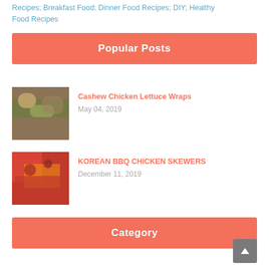Recipes; Breakfast Food; Dinner Food Recipes; DIY; Healthy Food Recipes
Popular Posts
[Figure (photo): Cashew Chicken Lettuce Wraps food photo thumbnail]
Cashew Chicken Lettuce Wraps
May 04, 2019
[Figure (photo): Korean BBQ Chicken Skewers food photo thumbnail]
KOREAN BBQ CHICKEN SKEWERS
December 11, 2019
[Figure (photo): Chicken Pepper Bacon Melts food photo thumbnail]
CHICKEN PEPPER BACON MELTS
December 11, 2019
Category
Healthy Food